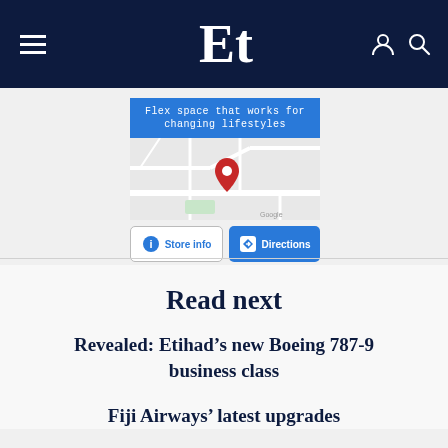Et (logo)
[Figure (screenshot): Embedded advertisement with blue banner reading 'Flex space that works for changing lifestyles', a Google Maps view with a red location pin, and two buttons: 'Store info' and 'Directions']
Read next
Revealed: Etihad's new Boeing 787-9 business class
Fiji Airways' latest upgrades